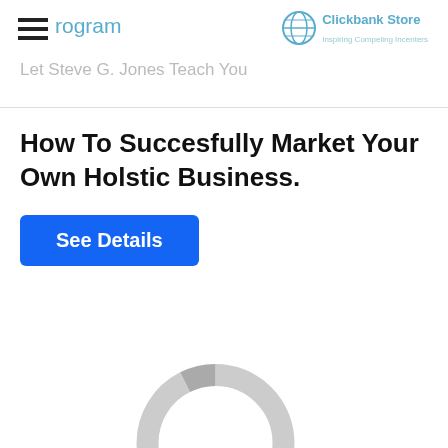Program | Clickbank Store | Let Steve G. Jones Teach You
How To Succesfully Market Your Own Holstic Business.
[Figure (other): A loading spinner / donut-shaped grey loading indicator circle in the lower portion of the page]